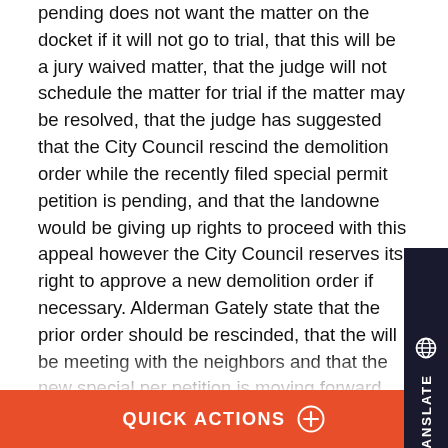pending does not want the matter on the docket if it will not go to trial, that this will be a jury waived matter, that the judge will not schedule the matter for trial if the matter may be resolved, that the judge has suggested that the City Council rescind the demolition order while the recently filed special permit petition is pending, and that the landowner would be giving up rights to proceed with this appeal however the City Council reserves its right to approve a new demolition order if necessary. Alderman Gately stated that the prior order should be rescinded, that the will be meeting with the neighbors and that the new special permit petition is moving forward, that the City Council can enter a new demolition order if necessary, and that the new proposal is for fifteen residential townhouse units and three commercial units. Alderman Mercer-Bruen stated that she wanted reassurance that the action of rescinding the order will not give the owner a sense that he will not
QUICK ACTIONS ⊕